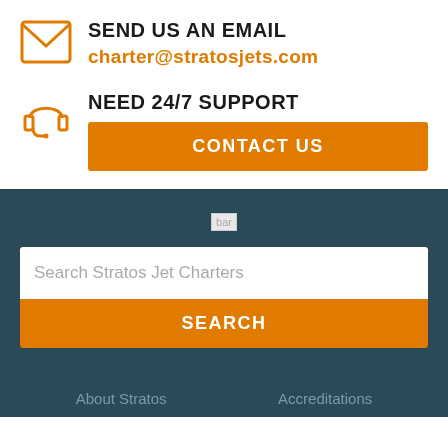SEND US AN EMAIL
charter@stratosjets.com
NEED 24/7 SUPPORT
CONTACT US
[Figure (other): Broken image placeholder labeled 'bar']
Search Stratos Jet Charters
SEARCH
About Stratos    Accreditations